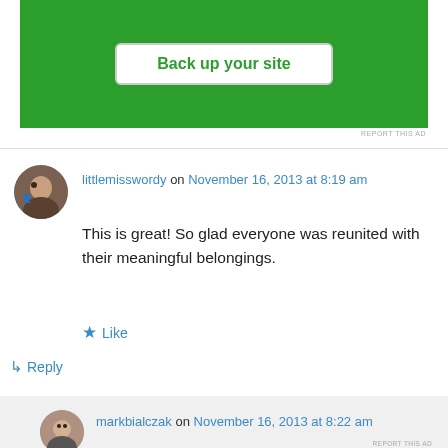[Figure (screenshot): Green advertisement banner with white button labeled 'Back up your site']
REPORT THIS AD
littlemisswordy on November 16, 2013 at 8:19 am
This is great! So glad everyone was reunited with their meaningful belongings.
★ Like
↵ Reply
markbialczak on November 16, 2013 at 8:22 am
Advertisements
[Figure (screenshot): Victoria's Secret advertisement: SHOP THE COLLECTION SHOP NOW]